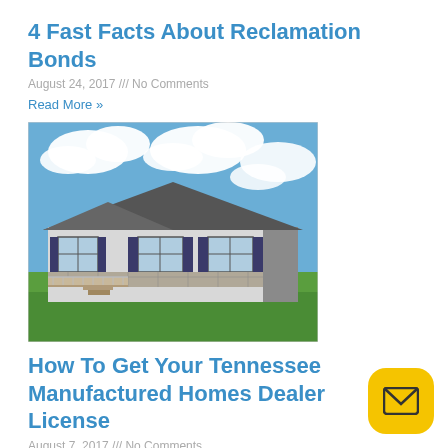4 Fast Facts About Reclamation Bonds
August 24, 2017 /// No Comments
Read More »
[Figure (photo): Exterior photo of a manufactured/mobile home with gray siding, dark shutters, a front deck with stairs, stone foundation, set on a green lawn with a blue sky and clouds in the background.]
How To Get Your Tennessee Manufactured Homes Dealer License
August 7, 2017 /// No Comments